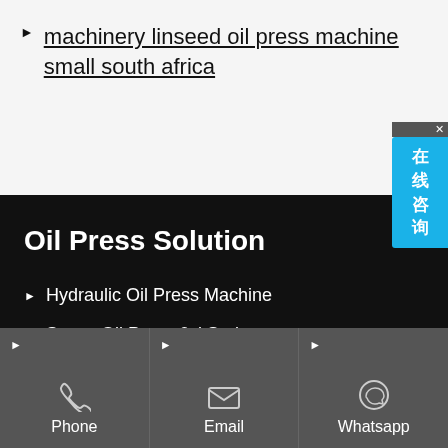machinery linseed oil press machine small south africa
[Figure (screenshot): Chat widget button with Chinese text '在线咨询' (online consultation) on a light blue background with close X button]
Oil Press Solution
Hydraulic Oil Press Machine
Screw Oil Press 6vl Series
Phone
Email
Whatsapp